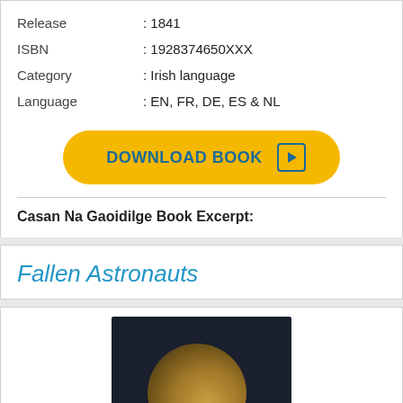| Release | : 1841 |
| ISBN | : 1928374650XXX |
| Category | : Irish language |
| Language | : EN, FR, DE, ES & NL |
[Figure (other): Yellow download button with play icon reading DOWNLOAD BOOK]
Casan Na Gaoidilge Book Excerpt:
Fallen Astronauts
[Figure (photo): Dark photo of the moon against a black/dark blue background, partially crescent-lit]